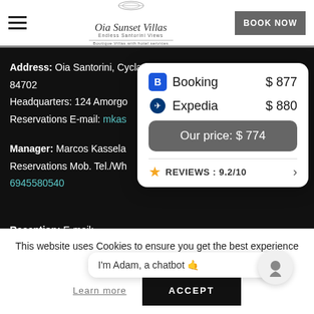[Figure (logo): Oia Sunset Villas logo with decorative crest, italic brand name, taglines 'Endless Santorini Views' and 'Boutique Villas with hotel services']
BOOK NOW
Address: Oia Santorini, Cyclades, 84702
Headquarters: 124 Amorgo...
Reservations E-mail: mkas...
Manager: Marcos Kassela...
Reservations Mob. Tel./Wh... 6945580540
Reception: E-mail: reception@OiaSunsetVillas.com
Tel.: +30 22860718...
[Figure (infographic): Price comparison card showing Booking $877, Expedia $880, Our price $774, Reviews 9.2/10]
I'm Adam, a chatbot 🤙
This website uses Cookies to ensure you get the best experience on our website.
Learn more
ACCEPT